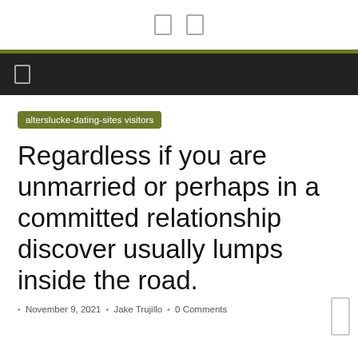[ ] [ ]
alterslucke-dating-sites visitors
Regardless if you are unmarried or perhaps in a committed relationship discover usually lumps inside the road.
November 9, 2021  Jake Trujillo  0 Comments